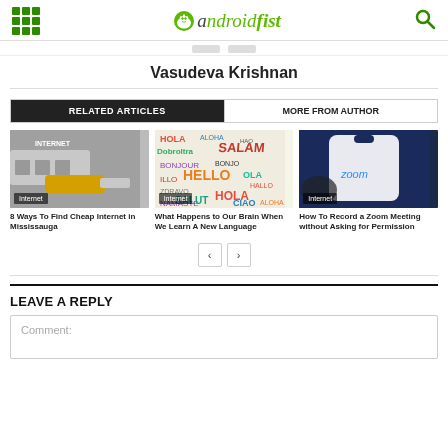androidfist
Vasudeva Krishnan
RELATED ARTICLES | MORE FROM AUTHOR
[Figure (photo): Ethernet cable plugged into a router with Internet label, category: Internet]
8 Ways To Find Cheap Internet in Mississauga
[Figure (photo): Word cloud with multilingual greetings: HOLA, HELLO, SALAM, BONJOUR, etc., category: Internet]
What Happens to Our Brain When We Learn A New Language
[Figure (photo): Hand holding phone with Zoom logo on screen, category: Internet]
How To Record a Zoom Meeting without Asking for Permission
LEAVE A REPLY
Comment: